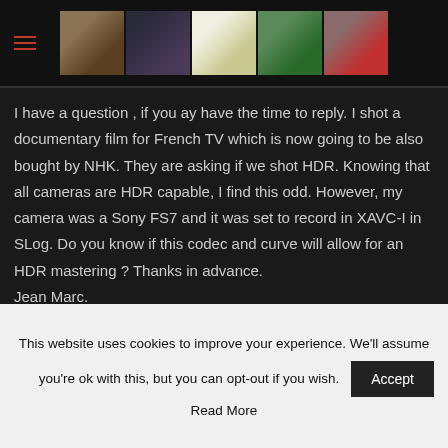[Header with hamburger menu and banner images]
I have a question , if you ay have the time to reply. I shot a documentary film for French TV which is now going to be also bought by NHK. They are asking if we shot HDR. Knowing that all cameras are HDR capable, I find this odd. However, my camera was a Sony FS7 and it was set to record in XAVC-I in SLog. Do you know if this codec and curve will allow for an HDR mastering ? Thanks in advance. Jean Marc.
ALEXIS
REPLY
This website uses cookies to improve your experience. We'll assume you're ok with this, but you can opt-out if you wish.
Accept
Read More